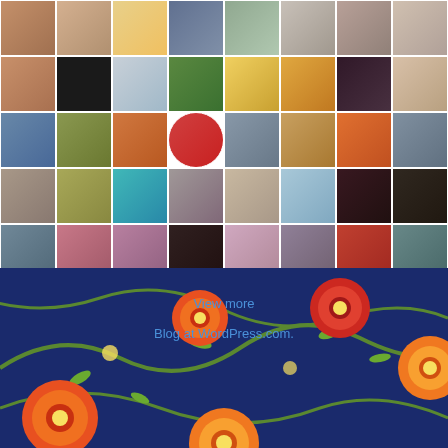[Figure (photo): Grid of avatar/profile photos and icons arranged in 6 rows and 8 columns, representing WordPress blog followers]
[Figure (illustration): Dark navy blue background with colorful folk-art floral pattern featuring orange, red, and yellow flowers with green vine leaves. Contains 'View more' and 'Blog at WordPress.com' links overlaid.]